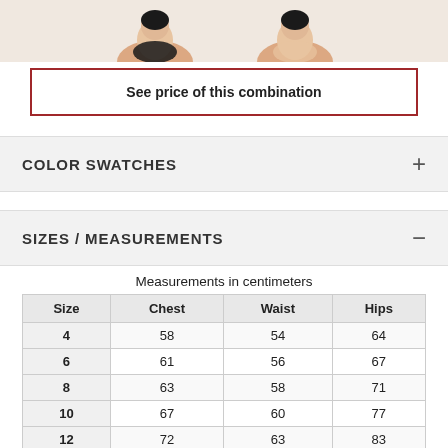[Figure (photo): Two mannequin figures wearing dancewear/leotards, cropped at torso, on a light peach background]
See price of this combination
COLOR SWATCHES
SIZES / MEASUREMENTS
Measurements in centimeters
| Size | Chest | Waist | Hips |
| --- | --- | --- | --- |
| 4 | 58 | 54 | 64 |
| 6 | 61 | 56 | 67 |
| 8 | 63 | 58 | 71 |
| 10 | 67 | 60 | 77 |
| 12 | 72 | 63 | 83 |
| 14 | 77 | 66 | 88 |
| 38 | 80 | 68 | 90 |
| 40 | 84 | 72 | 94 |